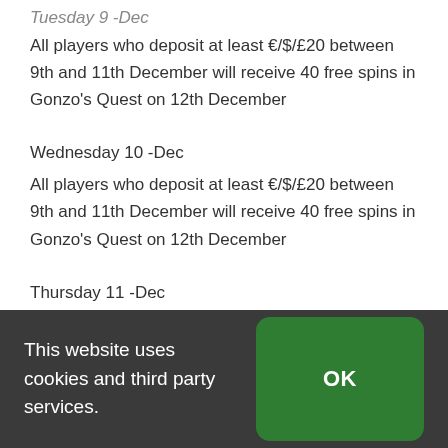Tuesday 9 -Dec
All players who deposit at least €/$/ £20 between 9th and 11th December will receive 40 free spins in Gonzo's Quest on 12th December
Wednesday 10 -Dec
All players who deposit at least €/$/£20 between 9th and 11th December will receive 40 free spins in Gonzo's Quest on 12th December
Thursday 11 -Dec
All players who deposit at least €/$/£20
This website uses cookies and third party services.
OK